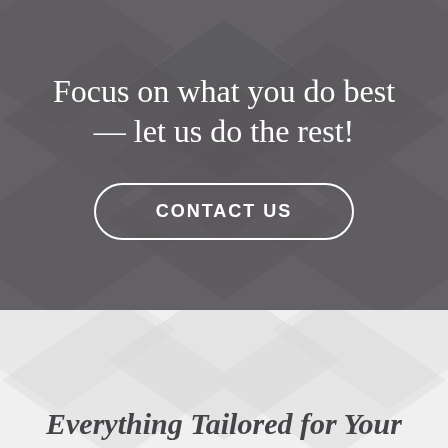Focus on what you do best — let us do the rest!
CONTACT US
Everything Tailored for Your